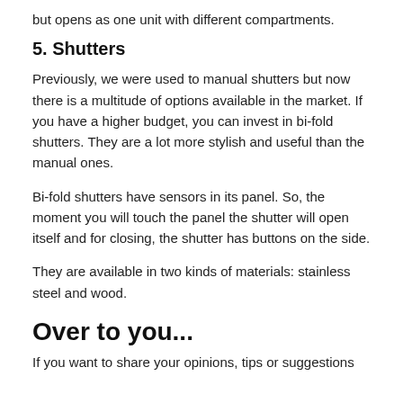but opens as one unit with different compartments.
5. Shutters
Previously, we were used to manual shutters but now there is a multitude of options available in the market. If you have a higher budget, you can invest in bi-fold shutters. They are a lot more stylish and useful than the manual ones.
Bi-fold shutters have sensors in its panel. So, the moment you will touch the panel the shutter will open itself and for closing, the shutter has buttons on the side.
They are available in two kinds of materials: stainless steel and wood.
Over to you...
If you want to share your opinions, tips or suggestions...